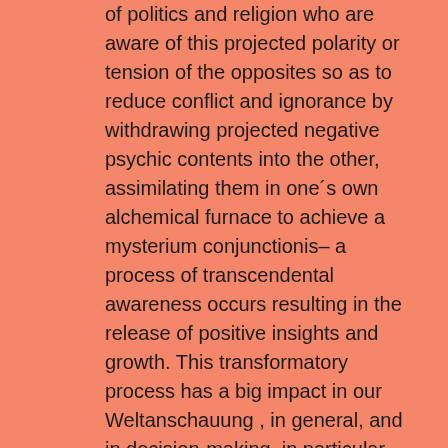of politics and religion who are aware of this projected polarity or tension of the opposites so as to reduce conflict and ignorance by withdrawing projected negative psychic contents into the other, assimilating them in one´s own alchemical furnace to achieve a mysterium conjunctionis– a process of transcendental awareness occurs resulting in the release of positive insights and growth. This transformatory process has a big impact in our Weltanschauung , in general, and in decision-making, in particular.
I see it the person and politics of President Obama, this kind of uniting and transcendental attitude both in the practical and intellectual level. You may recall that during the election campaign and the many speeches he delivered, he treated his political rivals with dignity and respect, with the elegance of a Harvard intellectual and the simplicity of a Nobody, unlike Palin, Bush and McCain who resorted to intimidate him with a show of white superiority based on utmost ignorance and Hillary Clinton´s aggressive gesticulation and tirade with racist undertones and appeal on the primal fear of the dark, black-skinned. Obama wrote and delivered his speeches